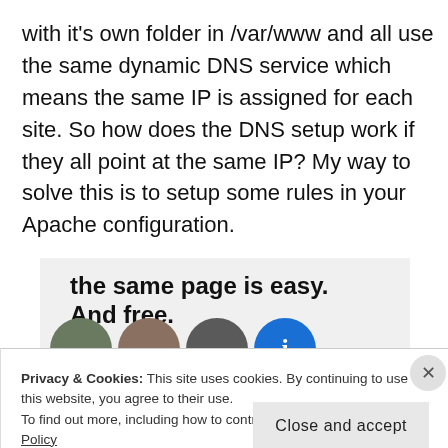with it's own folder in /var/www and all use the same dynamic DNS service which means the same IP is assigned for each site. So how does the DNS setup work if they all point at the same IP? My way to solve this is to setup some rules in your Apache configuration.
[Figure (other): Advertisement banner with bold text 'the same page is easy. And free.' on gray background, with circular avatar images (people and a blue info icon) at the bottom.]
Privacy & Cookies: This site uses cookies. By continuing to use this website, you agree to their use.
To find out more, including how to control cookies, see here: Cookie Policy